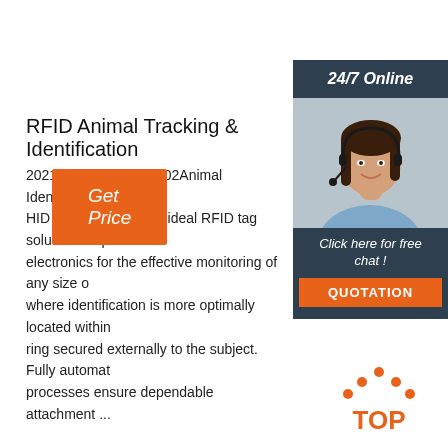[Figure (infographic): 24/7 Online chat support sidebar with photo of woman wearing headset, 'Click here for free chat!' text, and orange QUOTATION button]
RFID Animal Tracking & Identification
2021-11-12u2002·u2002Animal Identification Embe HID Global can create ideal RFID tag solutions or p electronics for the effective monitoring of any size o where identification is more optimally located within ring secured externally to the subject. Fully automat processes ensure dependable attachment ...
[Figure (other): Orange 'Get Price' button]
[Figure (logo): TOP logo with orange dot pattern above the text]